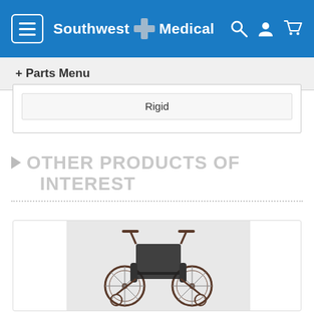Southwest Medical
+ Parts Menu
Rigid
OTHER PRODUCTS OF INTEREST
[Figure (photo): A rigid manual wheelchair with large rear wheels, black upholstery, and a dark frame, photographed on a light gray background.]